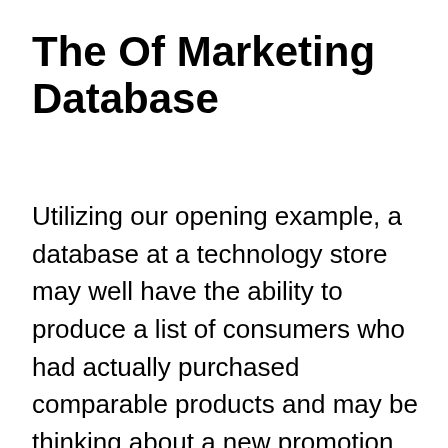The Of Marketing Database
Utilizing our opening example, a database at a technology store may well have the ability to produce a list of consumers who had actually purchased comparable products and may be thinking about a new promotion. These databases, as soon as developed, enable organisations to determine and contact clients with an appropriate marketing interaction. A solution at Marketing...